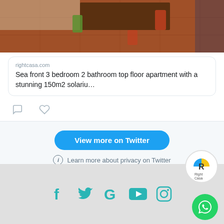[Figure (photo): Interior photo of a dining area with terracotta tile floor, wooden table with colorful chairs]
rightcasa.com
Sea front 3 bedroom 2 bathroom top floor apartment with a stunning 150m2 solariu…
[Figure (infographic): Comment and like heart icons]
View more on Twitter
Learn more about privacy on Twitter
[Figure (logo): RightCasa logo circle]
[Figure (infographic): Social media icons: Facebook, Twitter, Google, YouTube, Instagram]
[Figure (logo): WhatsApp button circle]